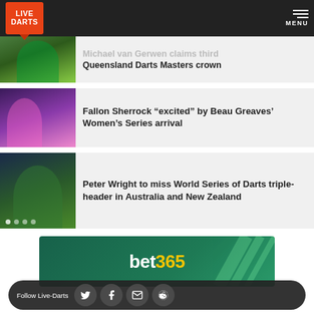LIVE DARTS — MENU
Michael van Gerwen claims third Queensland Darts Masters crown
Fallon Sherrock “excited” by Beau Greaves’ Women’s Series arrival
Peter Wright to miss World Series of Darts triple-header in Australia and New Zealand
[Figure (advertisement): bet365 sponsor banner with green background]
Follow Live-Darts